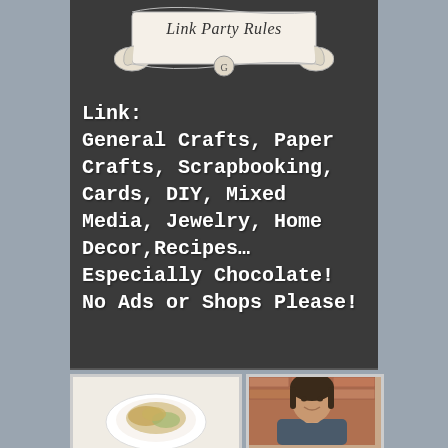[Figure (illustration): Chalkboard sign with 'Link Party Rules' scroll banner at top and white bold text listing link categories on dark chalkboard background]
[Figure (photo): Photo of a pasta or grain dish on a white plate]
[Figure (photo): Photo of a smiling young woman with dark hair in front of a brick wall]